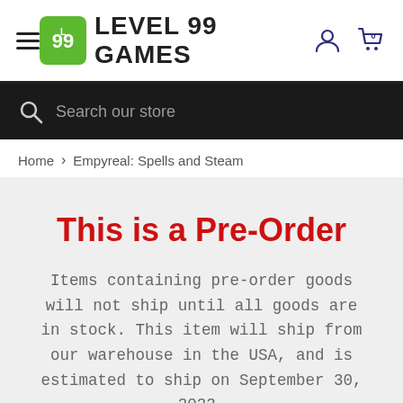Level 99 Games — navigation header with hamburger menu, logo, account icon, and cart (0)
Search our store
Home > Empyreal: Spells and Steam
This is a Pre-Order
Items containing pre-order goods will not ship until all goods are in stock. This item will ship from our warehouse in the USA, and is estimated to ship on September 30, 2022.